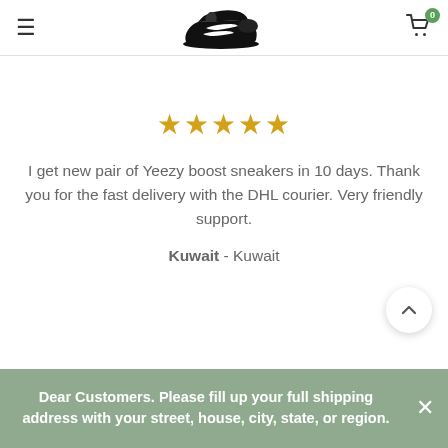Navigation header with hamburger menu, sneaker logo, and cart icon with badge 0
[Figure (illustration): Black sneaker logo (Yeezy-style shoe) centered in page header]
★★★★★ (5 gold stars rating)
I get new pair of Yeezy boost sneakers in 10 days. Thank you for the fast delivery with the DHL courier. Very friendly support.
Kuwait - Kuwait
Dear Customers. Please fill up your full shipping address with your street, house, city, state, or region.